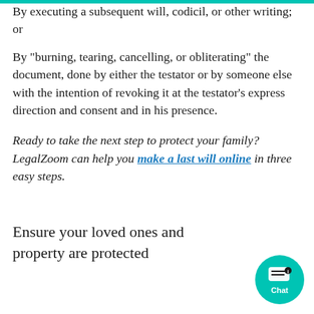By executing a subsequent will, codicil, or other writing; or
By “burning, tearing, cancelling, or obliterating” the document, done by either the testator or by someone else with the intention of revoking it at the testator’s express direction and consent and in his presence.
Ready to take the next step to protect your family? LegalZoom can help you make a last will online in three easy steps.
Ensure your loved ones and property are protected